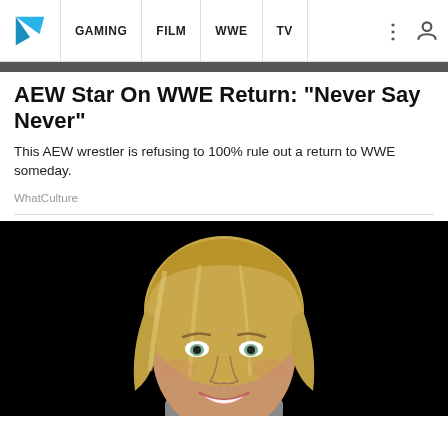GAMING | FILM | WWE | TV
[Figure (photo): Cropped top portion of a website/article page thumbnail or image]
AEW Star On WWE Return: "Never Say Never"
This AEW wrestler is refusing to 100% rule out a return to WWE someday.
WhatCulture
[Figure (photo): Headshot of a smiling blonde woman against a black background]